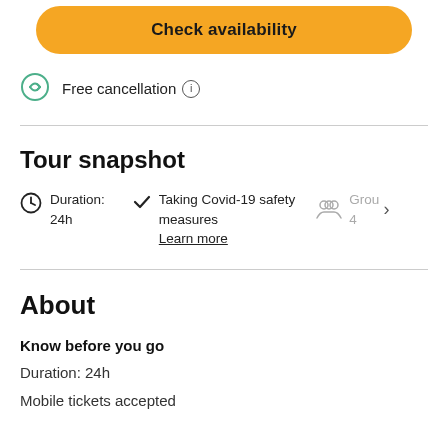Check availability
Free cancellation (i)
Tour snapshot
Duration: 24h
Taking Covid-19 safety measures
Learn more
Group 4
About
Know before you go
Duration: 24h
Mobile tickets accepted